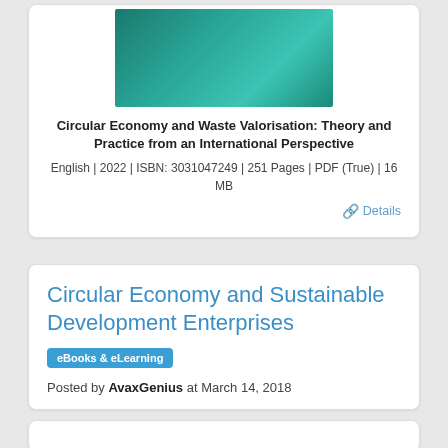[Figure (illustration): Book cover with teal/green gradient background]
Circular Economy and Waste Valorisation: Theory and Practice from an International Perspective
English | 2022 | ISBN: 3031047249 | 251 Pages | PDF (True) | 16 MB
🔗 Details
Circular Economy and Sustainable Development Enterprises
eBooks & eLearning
Posted by AvaxGenius at March 14, 2018